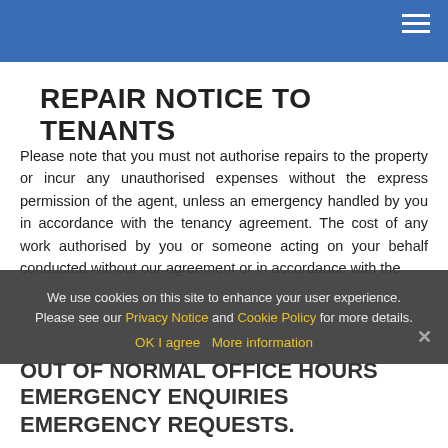REPAIR NOTICE TO TENANTS
Please note that you must not authorise repairs to the property or incur any unauthorised expenses without the express permission of the agent, unless an emergency handled by you in accordance with the tenancy agreement. The cost of any work authorised by you or someone acting on your behalf conducted without our agreement or in accordance with the
We use cookies on this site to enhance your user experience. Please see our Privacy Notice and Cookie Policy for more details. OK I agree  More information
OUT OF NORMAL OFFICE HOURS EMERGENCY ENQUIRIES
EMERGENCY REQUESTS.